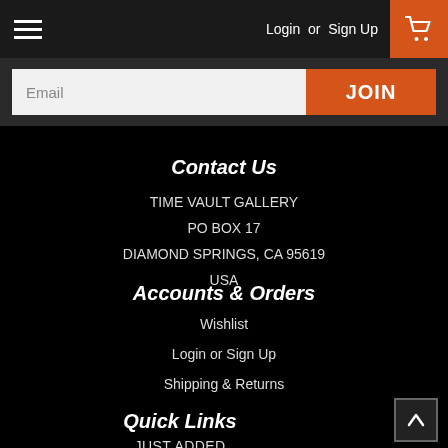Login or Sign Up
Email
JOIN
Contact Us
TIME VAULT GALLERY
PO BOX 17
DIAMOND SPRINGS, CA 95619
USA
Accounts & Orders
Wishlist
Login or Sign Up
Shipping & Returns
Quick Links
JUST ADDED
HOW TO ORDER